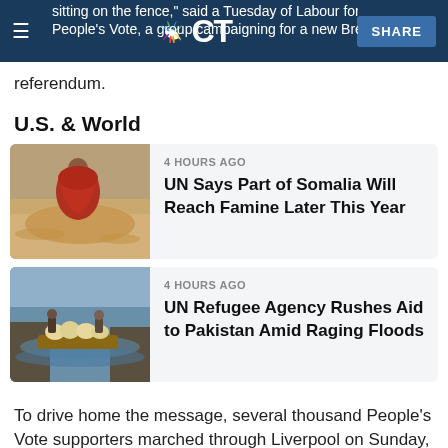sitting on the fence, said a Tuesday of Labour for a People's Vote, a group campaigning for a new Brexit referendum.
referendum.
U.S. & World
[Figure (photo): Person in red garment sitting on sandy ground in arid landscape]
4 HOURS AGO
UN Says Part of Somalia Will Reach Famine Later This Year
[Figure (photo): People on a raft loaded with sacks floating on flooded water near rocky terrain]
4 HOURS AGO
UN Refugee Agency Rushes Aid to Pakistan Amid Raging Floods
To drive home the message, several thousand People's Vote supporters marched through Liverpool on Sunday, waving blue-and-yellow EU flags alongside Union Jacks and holding signs reading "Exit from Brexit" and a few ruder slogans.